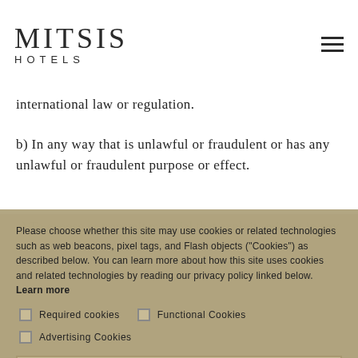MITSIS HOTELS
international law or regulation.
b) In any way that is unlawful or fraudulent or has any unlawful or fraudulent purpose or effect.
c) [partially obscured] minors in any...
d) [partially obscured] upload, download, use or re-use any material which does not comply with our content standards and those Terms of Use
e) [partially obscured] for...
Please choose whether this site may use cookies or related technologies such as web beacons, pixel tags, and Flash objects ("Cookies") as described below. You can learn more about how this site uses cookies and related technologies by reading our privacy policy linked below. Learn more
Required cookies | Functional Cookies | Advertising Cookies
ACCEPT SELECTED
ACCEPT ALL